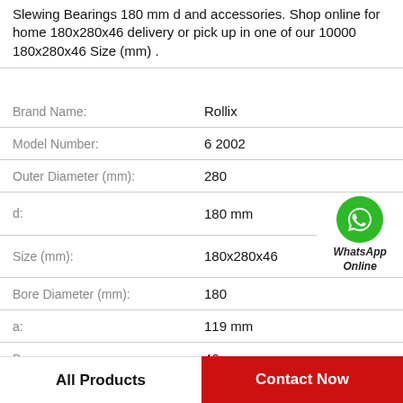Slewing Bearings 180 mm d and accessories. Shop online for home 180x280x46 delivery or pick up in one of our 10000 180x280x46 Size (mm) .
| Property | Value |
| --- | --- |
| Brand Name: | Rollix |
| Model Number: | 6 2002 |
| Outer Diameter (mm): | 280 |
| d: | 180 mm |
| Size (mm): | 180x280x46 |
| Bore Diameter (mm): | 180 |
| a: | 119 mm |
| B: | 46 mm |
[Figure (logo): WhatsApp Online contact icon — green circle with phone handset, text 'WhatsApp Online']
All Products
Contact Now